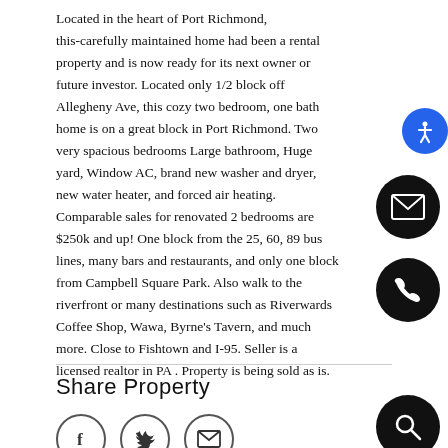Located in the heart of Port Richmond, this-carefully maintained home had been a rental property and is now ready for its next owner or future investor. Located only 1/2 block off Allegheny Ave, this cozy two bedroom, one bath home is on a great block in Port Richmond. Two very spacious bedrooms Large bathroom, Huge yard, Window AC, brand new washer and dryer, new water heater, and forced air heating. Comparable sales for renovated 2 bedrooms are $250k and up! One block from the 25, 60, 89 bus lines, many bars and restaurants, and only one block from Campbell Square Park. Also walk to the riverfront or many destinations such as Riverwards Coffee Shop, Wawa, Byrne's Tavern, and much more. Close to Fishtown and I-95. Seller is a licensed realtor in PA . Property is being sold as is.
Share Property